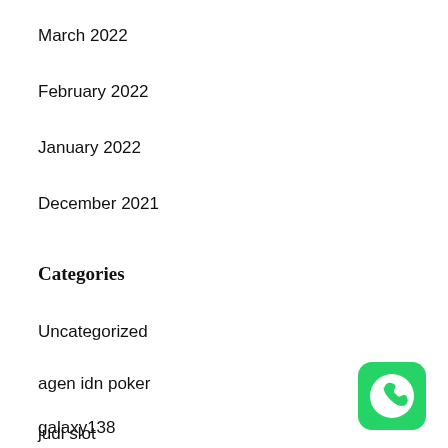March 2022
February 2022
January 2022
December 2021
Categories
Uncategorized
agen idn poker
galaxy138
judi slot
[Figure (logo): WhatsApp logo icon — green rounded square with white phone handset inside a speech bubble]